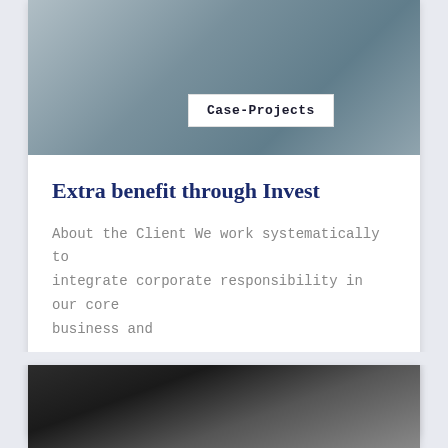[Figure (photo): Two people sitting on outdoor stone benches, business setting, street background]
Case-Projects
Extra benefit through Invest
About the Client We work systematically to integrate corporate responsibility in our core business and
VIEW DETAILS
[Figure (photo): Close-up portrait of a man with gray hair against dark background]